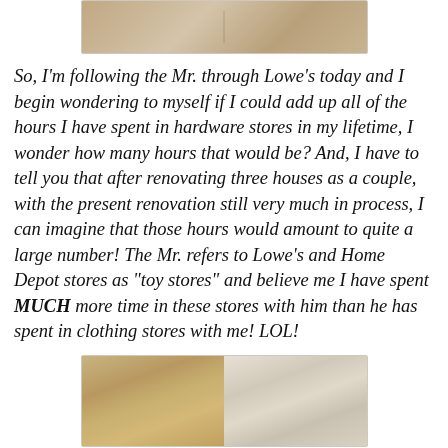[Figure (photo): Top portion of a photo showing a beige/tan surface, likely a floor or wall tile]
So, I'm following the Mr. through Lowe's today and I begin wondering to myself if I could add up all of the hours I have spent in hardware stores in my lifetime, I wonder how many hours that would be? And, I have to tell you that after renovating three houses as a couple, with the present renovation still very much in process, I can imagine that those hours would amount to quite a large number! The Mr. refers to Lowe's and Home Depot stores as "toy stores" and believe me I have spent MUCH more time in these stores with him than he has spent in clothing stores with me! LOL!
[Figure (photo): Bottom portion showing two side-by-side photos of lumber or building materials in a hardware store]